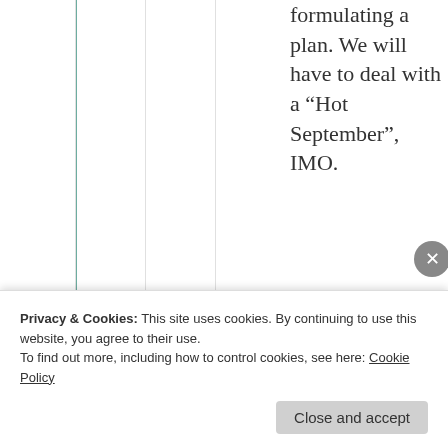formulating a plan. We will have to deal with a “Hot September”, IMO.
★ Liked by 1 person
↪ Reply
Privacy & Cookies: This site uses cookies. By continuing to use this website, you agree to their use. To find out more, including how to control cookies, see here: Cookie Policy
Close and accept